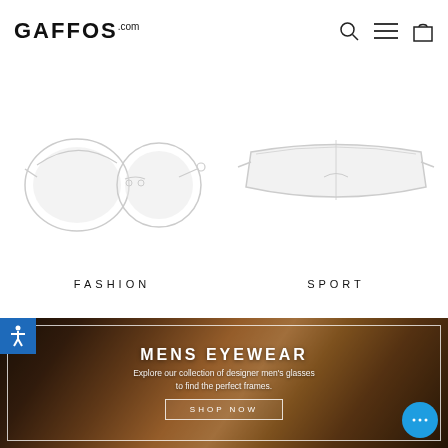GAFFOS.com
[Figure (photo): Two pairs of sunglasses displayed side by side - fashion round frames on left, sport shield frames on right, on white background]
FASHION
SPORT
[Figure (photo): Hero image of a young man with wavy blonde hair wearing round sunglasses in warm golden light, with text overlay MENS EYEWEAR and shop now button]
MENS EYEWEAR
Explore our collection of designer men's glasses to find the perfect frames.
SHOP NOW